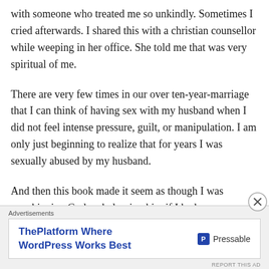with someone who treated me so unkindly. Sometimes I cried afterwards. I shared this with a christian counsellor while weeping in her office. She told me that was very spiritual of me.
There are very few times in our over ten-year-marriage that I can think of having sex with my husband when I did not feel intense pressure, guilt, or manipulation. I am only just beginning to realize that for years I was sexually abused by my husband.
And then this book made it seem as though I was worshipping God and pleasing him if I had
Advertisements
[Figure (other): Advertisement banner for Pressable WordPress hosting — 'ThePlatform Where WordPress Works Best' with Pressable logo]